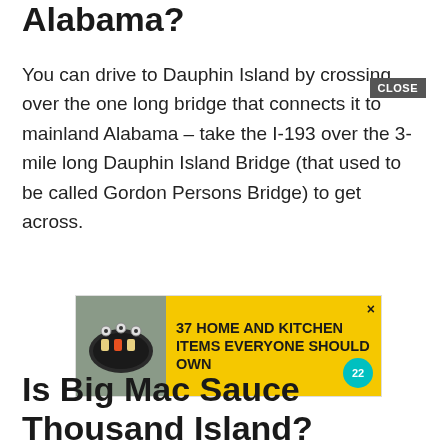Alabama?
You can drive to Dauphin Island by crossing over the one long bridge that connects it to mainland Alabama – take the I-193 over the 3-mile long Dauphin Island Bridge (that used to be called Gordon Persons Bridge) to get across.
[Figure (other): Advertisement banner: image of food items on left, yellow background with text '37 HOME AND KITCHEN ITEMS EVERYONE SHOULD OWN' and teal badge with '22' on right]
Is Big Mac Sauce Thousand Island?